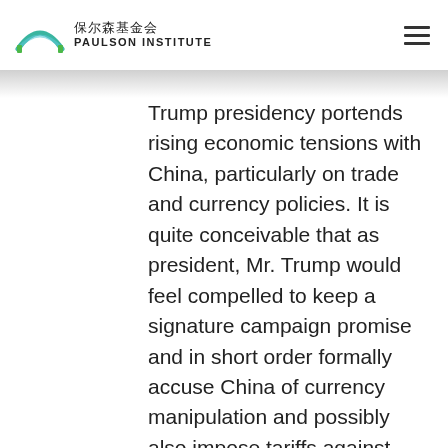保尔森基金会 PAULSON INSTITUTE
Trump presidency portends rising economic tensions with China, particularly on trade and currency policies. It is quite conceivable that as president, Mr. Trump would feel compelled to keep a signature campaign promise and in short order formally accuse China of currency manipulation and possibly also impose tariffs against Chinese imports. This is